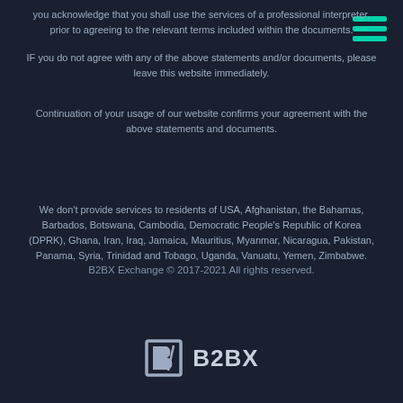you acknowledge that you shall use the services of a professional interpreter, prior to agreeing to the relevant terms included within the documents.
IF you do not agree with any of the above statements and/or documents, please leave this website immediately.
Continuation of your usage of our website confirms your agreement with the above statements and documents.
We don't provide services to residents of USA, Afghanistan, the Bahamas, Barbados, Botswana, Cambodia, Democratic People's Republic of Korea (DPRK), Ghana, Iran, Iraq, Jamaica, Mauritius, Myanmar, Nicaragua, Pakistan, Panama, Syria, Trinidad and Tobago, Uganda, Vanuatu, Yemen, Zimbabwe.
B2BX Exchange © 2017-2021 All rights reserved.
[Figure (logo): B2BX Exchange logo with stylized B icon and B2BX text]